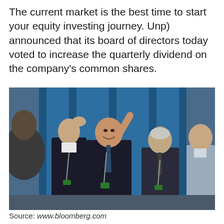The current market is the best time to start your equity investing journey. Unp) announced that its board of directors today voted to increase the quarterly dividend on the company's common shares.
[Figure (photo): Group of men in business suits at a formal event; the central figure points upward with one finger and smiles, others stand around him, with a blue curtain backdrop.]
Source: www.bloomberg.com